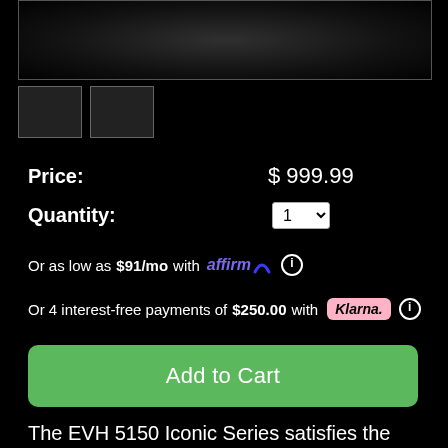[Figure (photo): Product image of EVH 5150 amplifier, dark/noisy background]
[Figure (photo): Thumbnail image 1 of EVH 5150 amplifier]
[Figure (photo): Thumbnail image 2 of EVH 5150 amplifier]
Price: $ 999.99
Quantity: 1
Or as low as $91/mo with affirm ℹ
Or 4 interest-free payments of $250.00 with Klarna. ℹ
Add to Cart
The EVH 5150 Iconic Series satisfies the needs of gigging and recording guitarists craving that pure